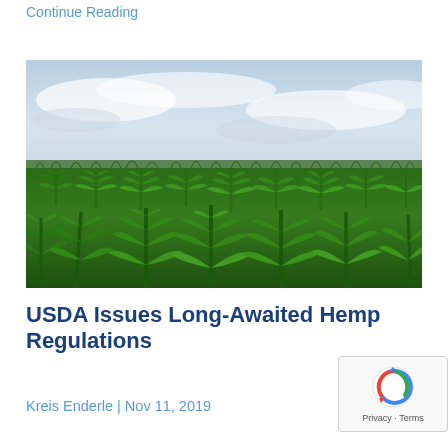Continue Reading
[Figure (photo): Wide-angle photograph of a large hemp field with dense green cannabis-type plants under a cloudy sky]
USDA Issues Long-Awaited Hemp Regulations
Kreis Enderle | Nov 11, 2019